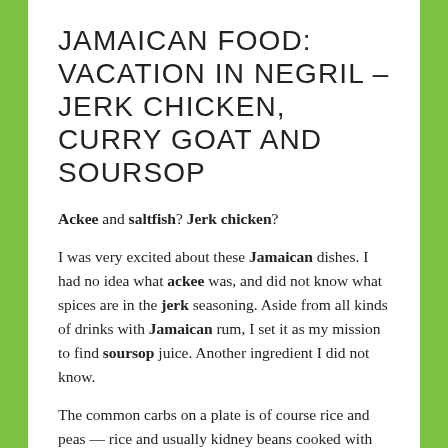JAMAICAN FOOD: VACATION IN NEGRIL – JERK CHICKEN, CURRY GOAT AND SOURSOP
Ackee and saltfish? Jerk chicken?
I was very excited about these Jamaican dishes. I had no idea what ackee was, and did not know what spices are in the jerk seasoning. Aside from all kinds of drinks with Jamaican rum, I set it as my mission to find soursop juice. Another ingredient I did not know.
The common carbs on a plate is of course rice and peas — rice and usually kidney beans cooked with coconut milk. We were at a supermarket in Negril. Those kidney